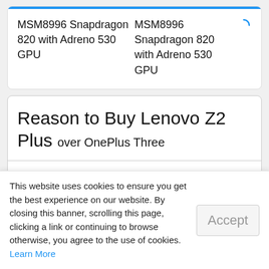|  |  |
| --- | --- |
| MSM8996 Snapdragon 820 with Adreno 530 GPU | MSM8996 Snapdragon 820 with Adreno 530 GPU |
Reason to Buy Lenovo Z2 Plus over OnePlus Three
Pixel Density
Lenovo Z2 Plus   441 ppi
This website uses cookies to ensure you get the best experience on our website. By closing this banner, scrolling this page, clicking a link or continuing to browse otherwise, you agree to the use of cookies. Learn More